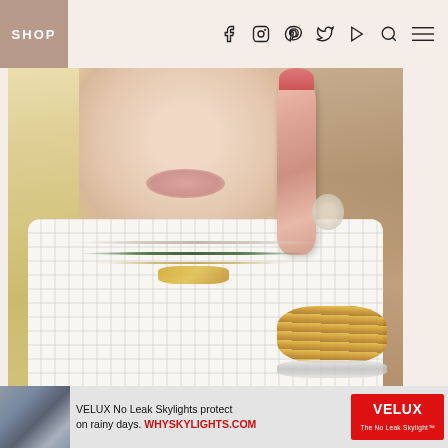SHOP
[Figure (photo): Blonde woman in white checkered top holding rose gold beauty device, wearing layered necklaces and gold bangles]
NORDSTROM BEAUTY MUST-HAVES |
[Figure (photo): VELUX No Leak Skylights advertisement banner with product image and logo]